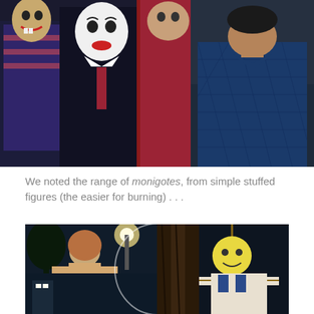[Figure (photo): Two photos side by side at top: left shows people in Halloween/carnival costumes with face paint and masks at night; right shows a person in a blue quilted jacket.]
We noted the range of monigotes, from simple stuffed figures (the easier for burning) . . .
[Figure (photo): A composite photo at night showing stuffed figures (monigotes): left side shows a hooded stuffed figure standing near a street lamp; right side shows a close-up of another stuffed figure tied to a tree.]